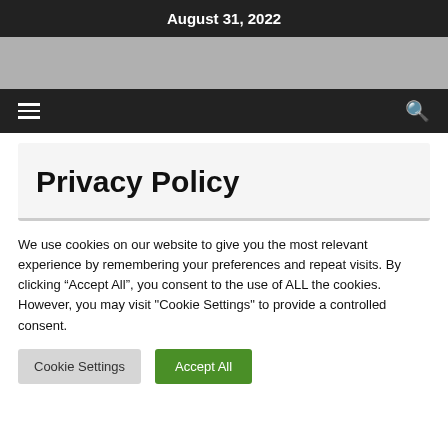August 31, 2022
Privacy Policy
We use cookies on our website to give you the most relevant experience by remembering your preferences and repeat visits. By clicking “Accept All”, you consent to the use of ALL the cookies. However, you may visit "Cookie Settings" to provide a controlled consent.
Cookie Settings | Accept All